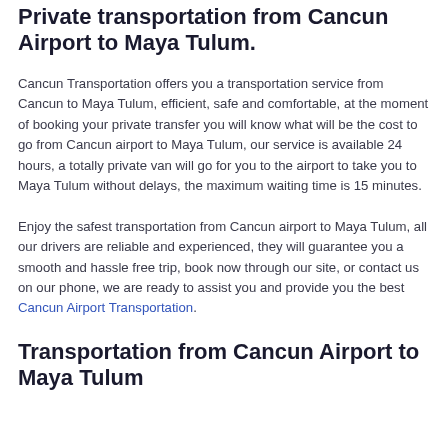Private transportation from Cancun Airport to Maya Tulum.
Cancun Transportation offers you a transportation service from Cancun to Maya Tulum, efficient, safe and comfortable, at the moment of booking your private transfer you will know what will be the cost to go from Cancun airport to Maya Tulum, our service is available 24 hours, a totally private van will go for you to the airport to take you to Maya Tulum without delays, the maximum waiting time is 15 minutes.
Enjoy the safest transportation from Cancun airport to Maya Tulum, all our drivers are reliable and experienced, they will guarantee you a smooth and hassle free trip, book now through our site, or contact us on our phone, we are ready to assist you and provide you the best Cancun Airport Transportation.
Transportation from Cancun Airport to Maya Tulum